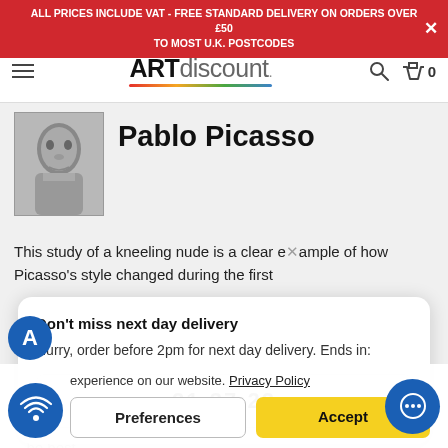ALL PRICES INCLUDE VAT - FREE STANDARD DELIVERY ON ORDERS OVER £50 TO MOST U.K. POSTCODES
[Figure (logo): ARTdiscount logo with coloured underline]
Pablo Picasso
[Figure (photo): Black and white portrait photo of Pablo Picasso as a young man]
This study of a kneeling nude is a clear example of how Picasso's style changed during the first
Don't miss next day delivery
Hurry, order before 2pm for next day delivery. Ends in:
21:37:22
experience on our website. Privacy Policy
Preferences
Accept